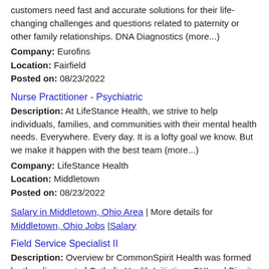customers need fast and accurate solutions for their life-changing challenges and questions related to paternity or other family relationships. DNA Diagnostics (more...)
Company: Eurofins
Location: Fairfield
Posted on: 08/23/2022
Nurse Practitioner - Psychiatric
Description: At LifeStance Health, we strive to help individuals, families, and communities with their mental health needs. Everywhere. Every day. It is a lofty goal we know. But we make it happen with the best team (more...)
Company: LifeStance Health
Location: Middletown
Posted on: 08/23/2022
Salary in Middletown, Ohio Area | More details for Middletown, Ohio Jobs |Salary
Field Service Specialist II
Description: Overview br CommonSpirit Health was formed by the alignment of Catholic Health Initiatives CHI and Dignity Health. With more than 700 care sites across the U.S. from clinics and hospitals to home-based (more...)